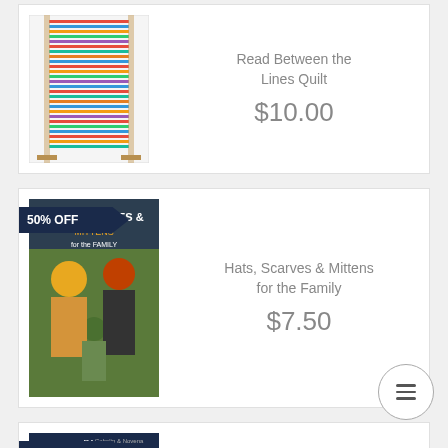[Figure (photo): Product image of Read Between the Lines Quilt — colorful horizontal striped quilt displayed on a wooden frame against a stone wall]
Read Between the Lines Quilt
$10.00
50% OFF
[Figure (photo): Book cover of Hats, Scarves & Mittens for the Family — showing a man, woman, and child wearing colorful knitted hats and scarves]
Hats, Scarves & Mittens for the Family
$7.50
66% OFF
[Figure (photo): Partial view of a third product card with a book/pattern cover, partially cropped at bottom of page]